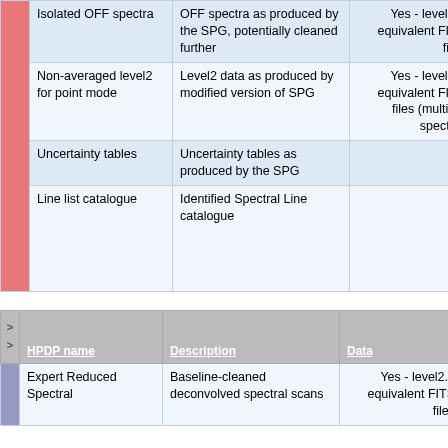|  | HPDP name | Description | Data | Catalogue (tables) |
| --- | --- | --- | --- | --- |
|  | Isolated OFF spectra | OFF spectra as produced by the SPG, potentially cleaned further | Yes - level2.5 equivalent FITS files |  |
|  | Non-averaged level2 for point mode | Level2 data as produced by modified version of SPG | Yes - level2.5 equivalent FITS files (multiple spectra) |  |
|  | Uncertainty tables | Uncertainty tables as produced by the SPG | No | Ye |
|  | Line list catalogue | Identified Spectral Line catalogue | No | Y... |
|  | HPDP name | Description | Data | Catalogue (tables) |
| --- | --- | --- | --- | --- |
|  | Expert Reduced Spectral | Baseline-cleaned deconvolved spectral scans | Yes - level2.5 equivalent FITS files | No |